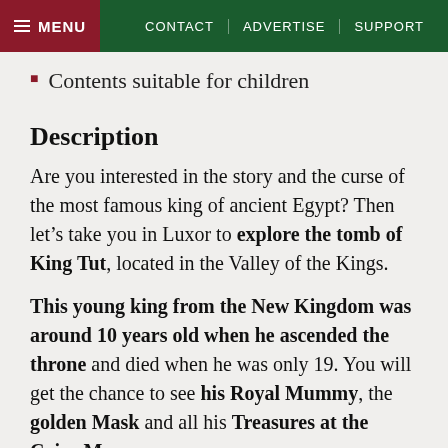MENU  CONTACT  ADVERTISE  SUPPORT
Contents suitable for children
Description
Are you interested in the story and the curse of the most famous king of ancient Egypt? Then let’s take you in Luxor to explore the tomb of King Tut, located in the Valley of the Kings.
This young king from the New Kingdom was around 10 years old when he ascended the throne and died when he was only 19. You will get the chance to see his Royal Mummy, the golden Mask and all his Treasures at the Cairo Museum.